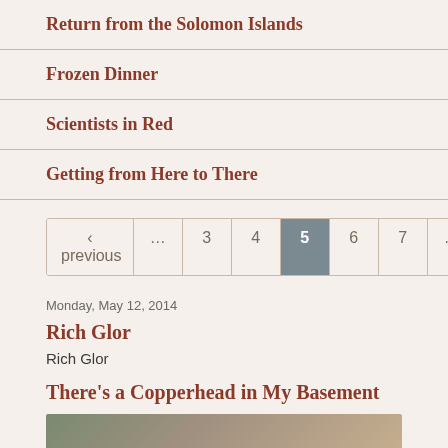Return from the Solomon Islands
Frozen Dinner
Scientists in Red
Getting from Here to There
‹ previous … 3 4 5 6 7 … next ›
Monday, May 12, 2014
Rich Glor
Rich Glor
There's a Copperhead in My Basement
[Figure (photo): Partial photo of a copperhead snake, blurred/cropped at bottom of page]